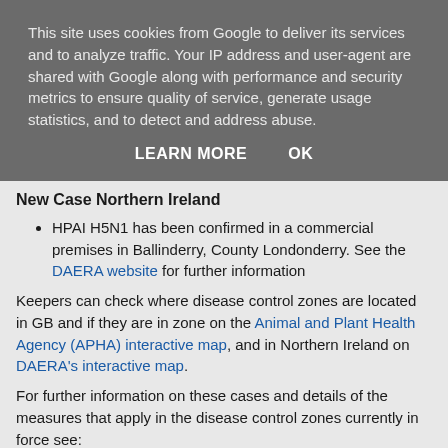This site uses cookies from Google to deliver its services and to analyze traffic. Your IP address and user-agent are shared with Google along with performance and security metrics to ensure quality of service, generate usage statistics, and to detect and address abuse.
LEARN MORE   OK
New Case Northern Ireland
HPAI H5N1 has been confirmed in a commercial premises in Ballinderry, County Londonderry. See the DAERA website for further information
Keepers can check where disease control zones are located in GB and if they are in zone on the Animal and Plant Health Agency (APHA) interactive map, and in Northern Ireland on DAERA's interactive map.
For further information on these cases and details of the measures that apply in the disease control zones currently in force see: